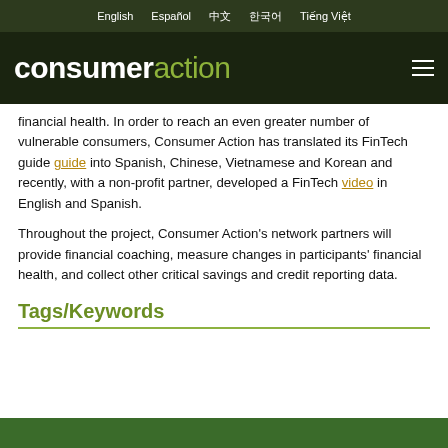English  Español  中文  한국어  Tiếng Việt
consumeraction
financial health. In order to reach an even greater number of vulnerable consumers, Consumer Action has translated its FinTech guide into Spanish, Chinese, Vietnamese and Korean and recently, with a non-profit partner, developed a FinTech video in English and Spanish.
Throughout the project, Consumer Action's network partners will provide financial coaching, measure changes in participants' financial health, and collect other critical savings and credit reporting data.
Tags/Keywords